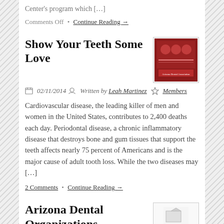Center's program which […]
Comments Off • Continue Reading →
Show Your Teeth Some Love
02/11/2014   Written by Leah Martinez   Members
Cardiovascular disease, the leading killer of men and women in the United States, contributes to 2,400 deaths each day. Periodontal disease, a chronic inflammatory disease that destroys bone and gum tissues that support the teeth affects nearly 75 percent of Americans and is the major cause of adult tooth loss. While the two diseases may […]
2 Comments • Continue Reading →
Arizona Dental Organizations